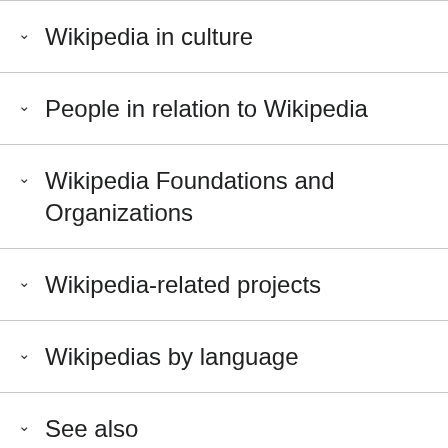Wikipedia in culture
People in relation to Wikipedia
Wikipedia Foundations and Organizations
Wikipedia-related projects
Wikipedias by language
See also